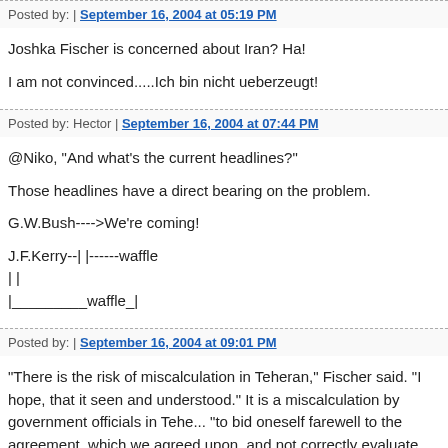Posted by: | September 16, 2004 at 05:19 PM
Joshka Fischer is concerned about Iran? Ha!
I am not convinced.....Ich bin nicht ueberzeugt!
Posted by: Hector | September 16, 2004 at 07:44 PM
@Niko, "And what's the current headlines?"
Those headlines have a direct bearing on the problem.
G.W.Bush---->We're coming!
J.F.Kerry--| |------waffle
| |
|_________waffle_|
Posted by: | September 16, 2004 at 09:01 PM
"There is the risk of miscalculation in Teheran," Fischer said. "I hope, that it seen and understood." It is a miscalculation by government officials in Tehe... "to bid oneself farewell to the agreement, which we agreed upon, and not correctly evaluate the consequences," Fischer said, without going into detai...